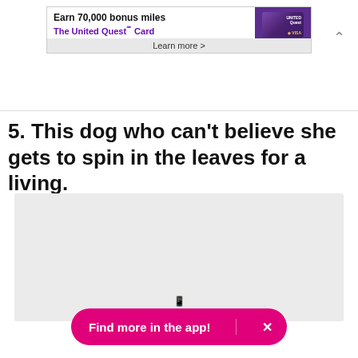[Figure (infographic): United Airlines United Quest Card advertisement banner. Text: 'Earn 70,000 bonus miles' and 'The United Quest℠ Card' with 'Learn more >' and an image of the purple United Quest credit card with VISA logo.]
5. This dog who can't believe she gets to spin in the leaves for a living.
[Figure (photo): A light grey placeholder rectangle representing an image of a dog spinning in leaves.]
Find more in the app!